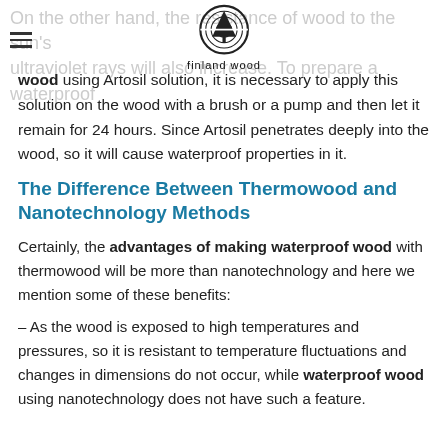On the other hand, the resistance of wood to the sun's ultraviolet rays will also increase. To prepare a waterproof
[Figure (logo): Finland Wood logo: circular emblem with a tree and rings, text 'finland wood' below]
wood using Artosil solution, it is necessary to apply this solution on the wood with a brush or a pump and then let it remain for 24 hours. Since Artosil penetrates deeply into the wood, so it will cause waterproof properties in it.
The Difference Between Thermowood and Nanotechnology Methods
Certainly, the advantages of making waterproof wood with thermowood will be more than nanotechnology and here we mention some of these benefits:
– As the wood is exposed to high temperatures and pressures, so it is resistant to temperature fluctuations and changes in dimensions do not occur, while waterproof wood using nanotechnology does not have such a feature.